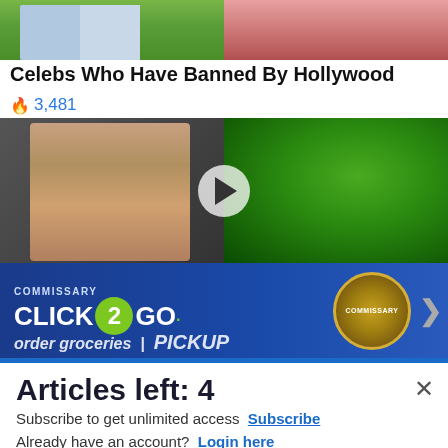[Figure (photo): Top portion of two side-by-side images cropped at top — left shows person in jeans on grass, right shows person in red top]
Celebs Who Have Banned By Hollywood
🔥 3,481
[Figure (photo): Split video thumbnail — left side shows shirtless man flexing at gym equipment, right side shows broccoli in a pan, with a circular play button in the center]
[Figure (photo): Advertisement banner for Commissary Click2Go with logo and text 'order groceries | PICKUP']
Articles left: 4
Subscribe to get unlimited access  Subscribe
Already have an account?  Login here